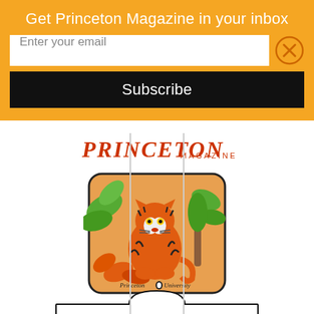Get Princeton Magazine in your inbox
Enter your email
Subscribe
[Figure (illustration): Princeton Magazine masthead logo in orange/red script lettering with 'MAGAZINE' below]
[Figure (photo): A decorative pillow featuring a seated tiger illustration with green leaves and orange background, labeled 'Princeton University']
Splash into summer with these fresh new products from Princeton Magazine Store.